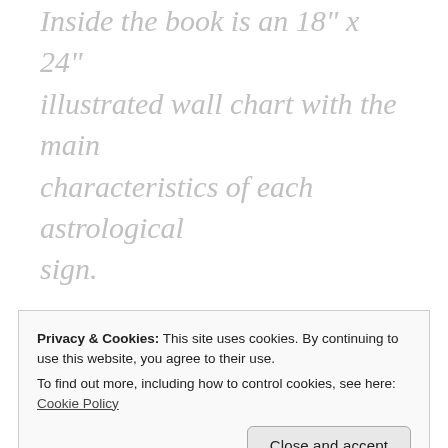Inside the book is an 18" x 24" illustrated wall chart with the main characteristics of each astrological sign.

This guide covers the full breadth of astrology topics, including the signs of the zodiac, sun and moon signs, astrological houses, the planets, and aspects. You will also learn how astrology relates to your body and
Privacy & Cookies: This site uses cookies. By continuing to use this website, you agree to their use.
To find out more, including how to control cookies, see here: Cookie Policy
approach to teaching the classic